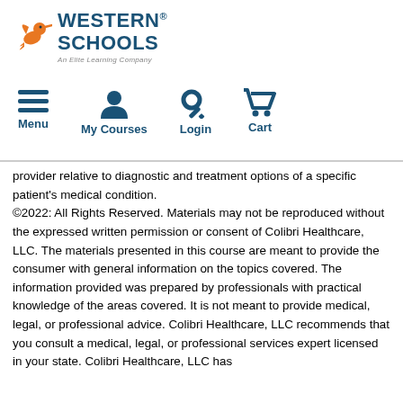[Figure (logo): Western Schools logo with orange hummingbird and dark blue text 'WESTERN SCHOOLS An Elite Learning Company']
[Figure (infographic): Navigation bar with four icons and labels: Menu (hamburger icon), My Courses (person icon), Login (key icon), Cart (shopping cart icon), all in dark blue]
provider relative to diagnostic and treatment options of a specific patient's medical condition.
©2022: All Rights Reserved. Materials may not be reproduced without the expressed written permission or consent of Colibri Healthcare, LLC. The materials presented in this course are meant to provide the consumer with general information on the topics covered. The information provided was prepared by professionals with practical knowledge of the areas covered. It is not meant to provide medical, legal, or professional advice. Colibri Healthcare, LLC recommends that you consult a medical, legal, or professional services expert licensed in your state. Colibri Healthcare, LLC has